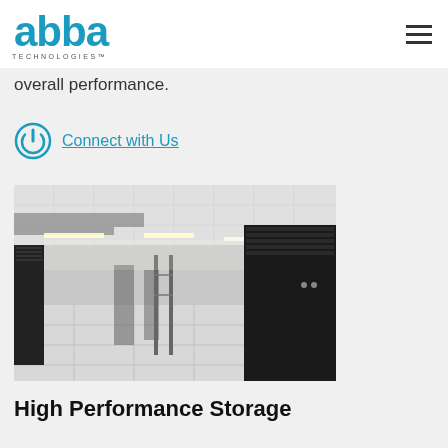abba TECHNOLOGIES™
overall performance.
Connect with Us
[Figure (photo): Interior of a data center showing a long corridor with raised white tile flooring, overhead cable trays and fluorescent lighting, with rows of tall black server racks on both sides receding into the distance.]
High Performance Storage